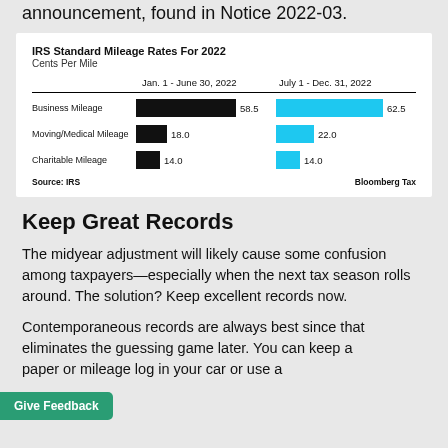announcement, found in Notice 2022-03.
[Figure (grouped-bar-chart): IRS Standard Mileage Rates For 2022]
Keep Great Records
The midyear adjustment will likely cause some confusion among taxpayers—especially when the next tax season rolls around. The solution? Keep excellent records now.
Contemporaneous records are always best since that eliminates the guessing game later. You can keep a paper or mileage log in your car or use a